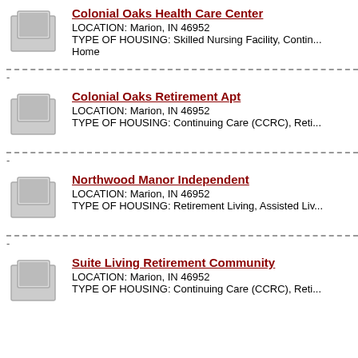[Figure (photo): Photo placeholder icon for Colonial Oaks Health Care Center]
Colonial Oaks Health Care Center
LOCATION: Marion, IN 46952
TYPE OF HOUSING: Skilled Nursing Facility, Continuing Care Retirement Home
[Figure (photo): Photo placeholder icon for Colonial Oaks Retirement Apt]
Colonial Oaks Retirement Apt
LOCATION: Marion, IN 46952
TYPE OF HOUSING: Continuing Care (CCRC), Retirement...
[Figure (photo): Photo placeholder icon for Northwood Manor Independent]
Northwood Manor Independent
LOCATION: Marion, IN 46952
TYPE OF HOUSING: Retirement Living, Assisted Living...
[Figure (photo): Photo placeholder icon for Suite Living Retirement Community]
Suite Living Retirement Community
LOCATION: Marion, IN 46952
TYPE OF HOUSING: Continuing Care (CCRC), Retirement...